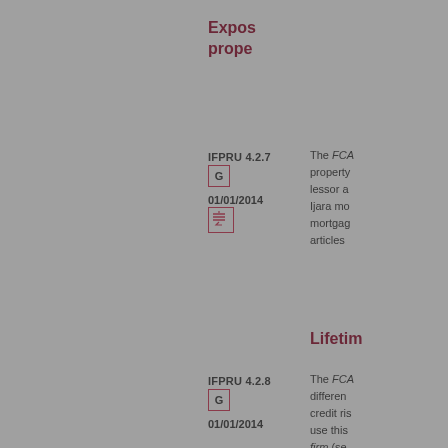Exposures: property
IFPRU 4.2.7
G
01/01/2014
The FCA property lessor a Ijara mo mortga articles
Lifetime
IFPRU 4.2.8
G
01/01/2014
The FCA differen credit ri use this firm (se